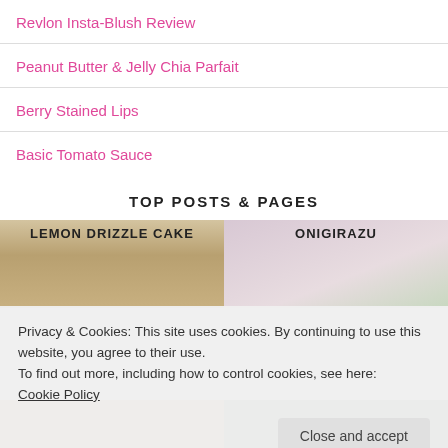Revlon Insta-Blush Review
Peanut Butter & Jelly Chia Parfait
Berry Stained Lips
Basic Tomato Sauce
TOP POSTS & PAGES
[Figure (photo): Two thumbnail images: Lemon Drizzle Cake on the left, Onigirazu on the right]
Privacy & Cookies: This site uses cookies. By continuing to use this website, you agree to their use.
To find out more, including how to control cookies, see here:
Cookie Policy
Close and accept
[Figure (photo): Bottom strip of two thumbnail images: golden cake on left, green/seaweed dish on right]